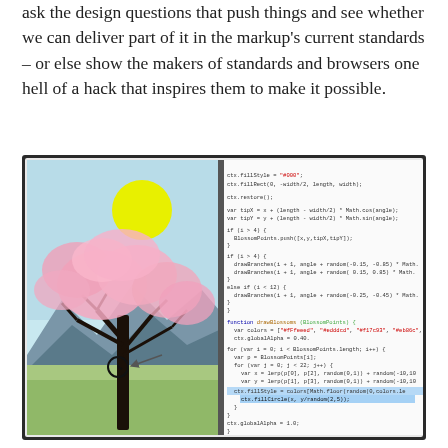ask the design questions that push things and see whether we can deliver part of it in the markup's current standards – or else show the makers of standards and browsers one hell of a hack that inspires them to make it possible.
[Figure (screenshot): A book spread showing two pages: the left page displays a digital illustration of a cherry blossom tree with pink flowers, a yellow sun, mountains, and a dark tree trunk with a clock/circle element; the right page shows JavaScript source code for drawing blossoms on a canvas, including functions like drawBlossoms, ctx.fillStyle, ctx.fillRect, ctx.globalAlpha, and loops over BlossomPoints.]